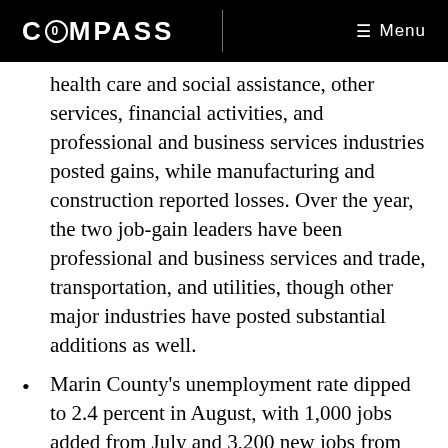COMPASS | Menu
health care and social assistance, other services, financial activities, and professional and business services industries posted gains, while manufacturing and construction reported losses. Over the year, the two job-gain leaders have been professional and business services and trade, transportation, and utilities, though other major industries have posted substantial additions as well.
Marin County's unemployment rate dipped to 2.4 percent in August, with 1,000 jobs added from July and 3,200 new jobs from the same time last year. On an annual basis, most jobs gained in Marin County were in the educational and health services sector, followed by construction and trade, transportation, and utilities.